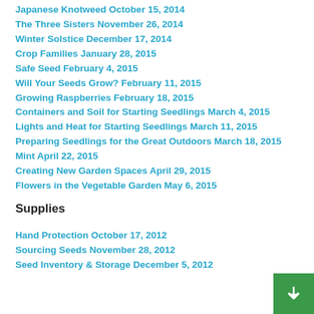Japanese Knotweed October 15, 2014
The Three Sisters November 26, 2014
Winter Solstice December 17, 2014
Crop Families January 28, 2015
Safe Seed February 4, 2015
Will Your Seeds Grow? February 11, 2015
Growing Raspberries February 18, 2015
Containers and Soil for Starting Seedlings March 4, 2015
Lights and Heat for Starting Seedlings March 11, 2015
Preparing Seedlings for the Great Outdoors March 18, 2015
Mint April 22, 2015
Creating New Garden Spaces April 29, 2015
Flowers in the Vegetable Garden May 6, 2015
Supplies
Hand Protection October 17, 2012
Sourcing Seeds November 28, 2012
Seed Inventory & Storage December 5, 2012